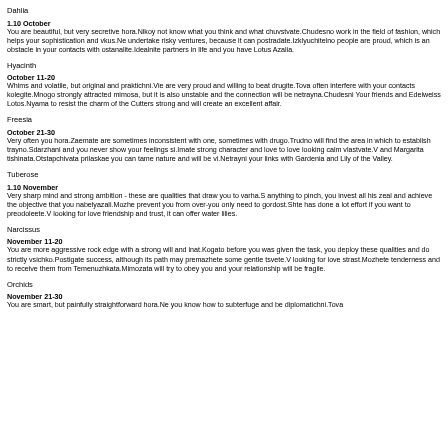Dahlia
1.10 October
You are beautiful, but very secretive hora.Nikoy not know what you think and what chuvstvate.Chudesno work in the field of fashion, which helps your sophistication and vkus.Ne undertake risky ventures, because it can postradate.Izklyuchitelno people are proud, which is an obstacle in your contacts with ostanalite.Idealnite partners in life and you have Lotus Azalia.
Hyacinth
October 11-20
Whims and volatile, but original and praktichni.Vie are very proud and willing to beat drugite.Tova often interfere with your contacts kolegite.Mnogo strongly attracted mimosa, but it is also unstable and the connection will be netrayna.Chudesni Your friends and Edelweiss Lotos.Nyama to resist the charm of the Cutters strong and will create an excellent affair.
Freesia
October 21-30
Very often you hora.Zaemate are sometimes inconsistent with one, sometimes with drugo.Trudno will find the area in which to establish trayno.Sdarzhani and you never show your feelings si.Imate strong character and love to love looking calm vlastvate.V and Margarita tishinata.Otstapchivata prilaskae you can tame nature and will be vi.Netrayni your links with Gardenia and Lily of the Valley.
Tuberose
1.10 November
Very sharp mind and strong ambition - these are qualities that draw you to varha.S anything to pinch, you invest all his zeal and achieve the objective that you nabelyazali.Mozhe prevent you from over-you only need to gordost.Shte has done a lot effort if you want to preodoleete.V looking for love friendship and trust, it can offer water lilies.
Narcissus
November 11-20
You are more aggressive rock edge with a strong will and inat.Kogato before you was given the task, you deploy these qualities and do strictly vsichko.Postigate success, although its path may premazhete some gentle tsvete.V looking for love strast.Mozhete tenderness and to receive them from Temenuzhkata.Mimozata will try to obey you and your relationship will be fragile.
Orchids
November 21-30
You are smart, but painfully straightforward hora.Ne you know how to subterfuge and be diplomatichni.Tova